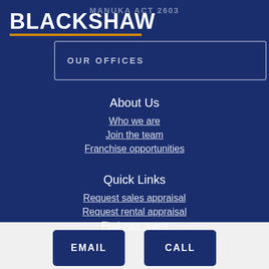MANUKA ACT 2603
BLACKSHAW
OUR OFFICES
About Us
Who we are
Join the team
Franchise opportunities
Quick Links
Request sales appraisal
Request rental appraisal
Find your agent
EMAIL
CALL